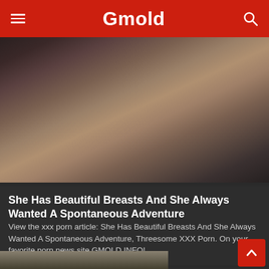Gmold
[Figure (photo): Adult content photo showing two people in a sexual encounter]
She Has Beautiful Breasts And She Always Wanted A Spontaneous Adventure
View the xxx porn article: She Has Beautiful Breasts And She Always Wanted A Spontaneous Adventure, Threesome XXX Porn. On your favorite porn news site GMOLD.INFO!
24 Views · Likes 0
[Figure (photo): Partial preview of another article image at bottom of page]